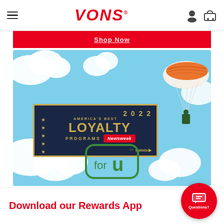VONS
Shop Now
[Figure (illustration): Vons loyalty program promotional banner with sky and clouds background, showing America's Best Loyalty Programs 2022 award badge (Newsweek/Statista), for U rewards logo, and a sushi piece on a parachute]
Download our Rewards App